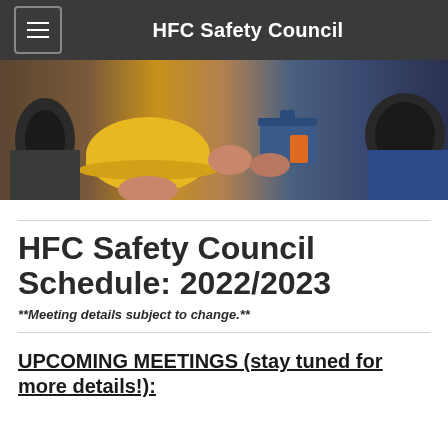HFC Safety Council
[Figure (photo): Hero banner showing safety workers holding hard hats, ear protection, and toolboxes]
HFC Safety Council Schedule: 2022/2023
**Meeting details subject to change.**
UPCOMING MEETINGS (stay tuned for more details!):